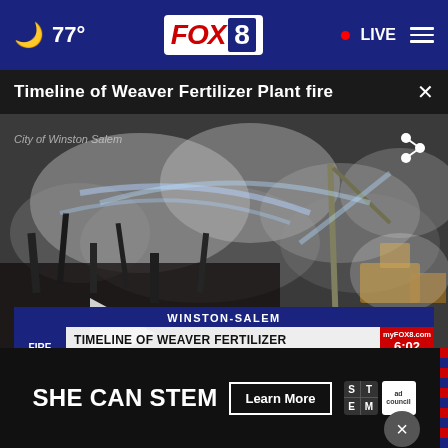🌙 77° FOX 8 • LIVE
Timeline of Weaver Fertilizer Plant fire
[Figure (screenshot): Aerial video screenshot of the Weaver Fertilizer Plant fire in Winston-Salem, showing firefighters spraying water on burning debris. Overlay text reads 'City of Winston Salem'. Lower third chyron reads 'WINSTON-SALEM / TIMELINE OF WEAVER FERTILIZER PLANT FIRE' with FOX8 branding showing 6:02 and 53°. Play button overlay visible.]
[Figure (other): Advertisement overlay: 'SHE CAN STEM Learn More' with STEM and Ad Council logos on dark background. Close button (×) visible above the ad.]
Investigations
Sports
Community